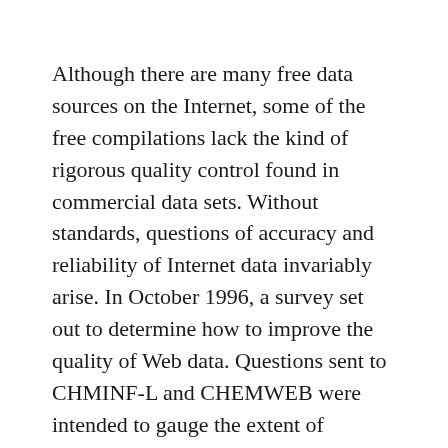Although there are many free data sources on the Internet, some of the free compilations lack the kind of rigorous quality control found in commercial data sets. Without standards, questions of accuracy and reliability of Internet data invariably arise. In October 1996, a survey set out to determine how to improve the quality of Web data. Questions sent to CHMINF-L and CHEMWEB were intended to gauge the extent of inaccurate data in Web databases, to define desirable characteristics, and to determine the best guides to data.
Some respondents roundly criticised the inaccuracy of data on the Web, citing the